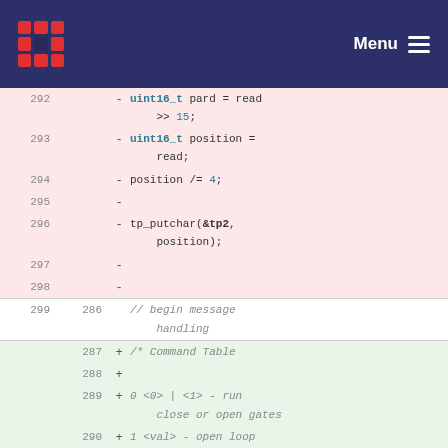Menu
292  -  uint16_t pard = read >> 15;
293  -  uint16_t position = read;
294  -  position /= 4;
295  -
296  -  tp_putchar(&tp2, position);
297  -
298  -
299  286    // begin message handling
287  +  /* Command Table
288  +
289  +  0 <0> | <1> - run close or open gates
290  +  1 <val> - open loop terq
291  +  2 <val> - period to run open loop on